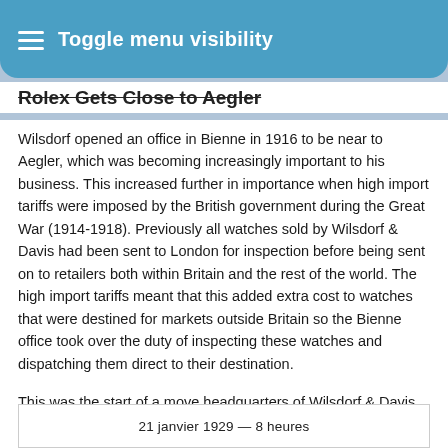Toggle menu visibility
Rolex Gets Close to Aegler
Wilsdorf opened an office in Bienne in 1916 to be near to Aegler, which was becoming increasingly important to his business. This increased further in importance when high import tariffs were imposed by the British government during the Great War (1914-1918). Previously all watches sold by Wilsdorf & Davis had been sent to London for inspection before being sent on to retailers both within Britain and the rest of the world. The high import tariffs meant that this added extra cost to watches that were destined for markets outside Britain so the Bienne office took over the duty of inspecting these watches and dispatching them direct to their destination.
This was the start of a move headquarters of Wilsdorf & Davis and Rolex from London to Switzerland. If it hadn't been for the Great War and British import duties, Rolex might still be a British company.
21 janvier 1929 — 8 heures